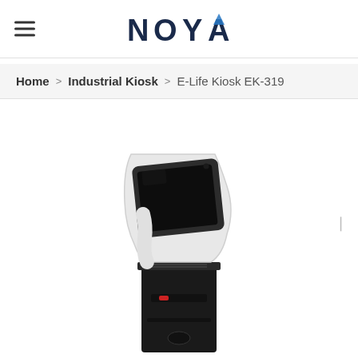NOYA
Home > Industrial Kiosk > E-Life Kiosk EK-319
[Figure (photo): E-Life Kiosk EK-319 product photo: a freestanding interactive kiosk with a white curved upper body housing an angled touchscreen monitor in a dark bezel, mounted on a black rectangular lower pedestal unit with a card slot and ventilation.]